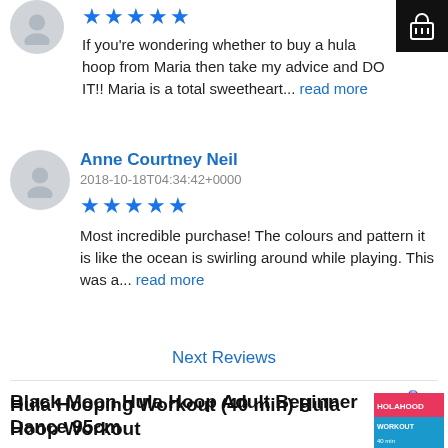If you're wondering whether to buy a hula hoop from Maria then take my advice and DO IT!! Maria is a total sweetheart... read more
Anne Courtney Neil
2018-10-18T04:34:42+0000
Most incredible purchase! The colours and pattern it is like the ocean is swirling around while playing. This was a... read more
Next Reviews
Black Moon Hula Hoop Adult Beginner Dance 95cm
by Bec
Hula Hooping Workout (40 min) Hula Hoop Workout